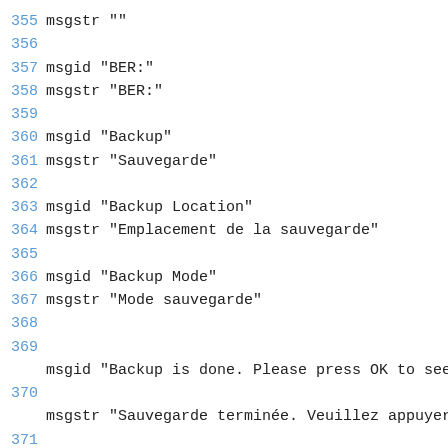355 msgstr ""
356
357 msgid "BER:"
358 msgstr "BER:"
359
360 msgid "Backup"
361 msgstr "Sauvegarde"
362
363 msgid "Backup Location"
364 msgstr "Emplacement de la sauvegarde"
365
366 msgid "Backup Mode"
367 msgstr "Mode sauvegarde"
368
369
msgid "Backup is done. Please press OK to see
370
msgstr "Sauvegarde terminée. Veuillez appuyer
371
372 msgid "Band"